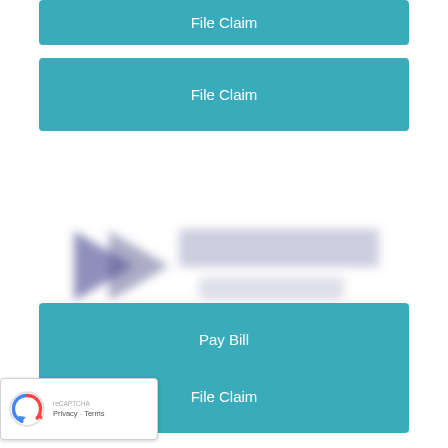File Claim
[Figure (logo): Blurred insurance company logo with arrow/chevron shape on the left and blurred text on the right]
Pay Bill
File Claim
[Figure (other): reCAPTCHA badge with Privacy and Terms links]